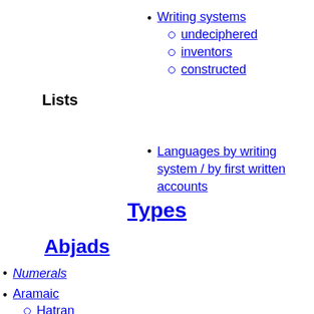Lists
Writing systems
undeciphered
inventors
constructed
Languages by writing system / by first written accounts
Types
Abjads
Numerals
Aramaic
Hatran
Arabic
Elifba
Egyptian hieroglyphs
Elymaic
Hebrew
Ashuri
Cursive
Rashi
Solitreo
Tifinagh
Mandaic